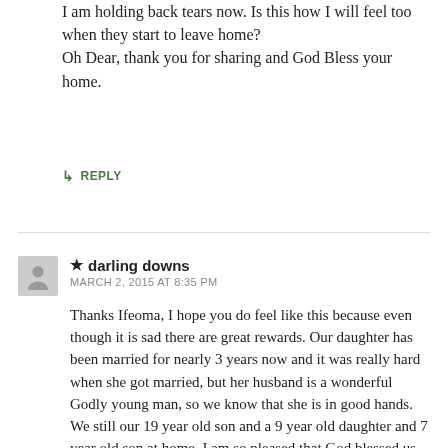I am holding back tears now. Is this how I will feel too when they start to leave home?
Oh Dear, thank you for sharing and God Bless your home.
↳ REPLY
★ darling downs
MARCH 2, 2015 AT 8:35 PM
Thanks Ifeoma, I hope you do feel like this because even though it is sad there are great rewards. Our daughter has been married for nearly 3 years now and it was really hard when she got married, but her husband is a wonderful Godly young man, so we know that she is in good hands. We still our 19 year old son and a 9 year old daughter and 7 year old son at home. I am so pleased that God blessed us with the younger two or I would really be feeling quite lonely. Thank you for your comment and may your home be blessed also. xxxx